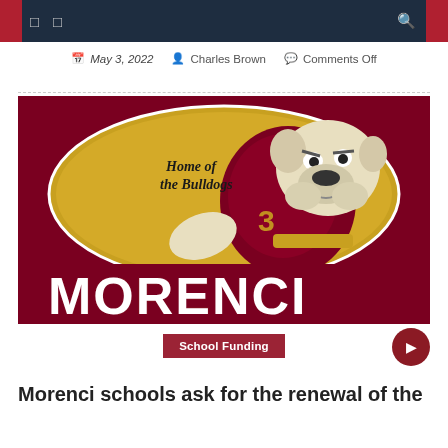Navigation bar with menu icons and search
May 3, 2022  |  Charles Brown  |  Comments Off
[Figure (illustration): Morenci Bulldogs mascot logo — a cartoon bulldog in maroon jersey with number 3, gold oval background, text 'Home of the Bulldogs', large MORENCI lettering at the bottom in white and gold on maroon background.]
School Funding
Morenci schools ask for the renewal of the